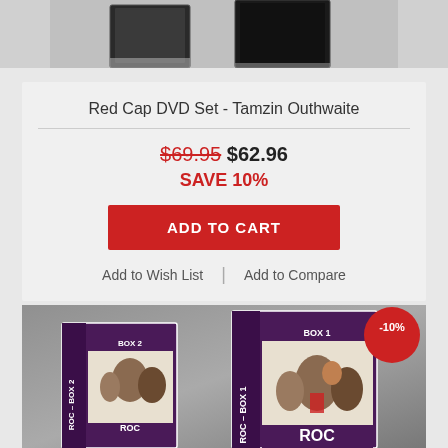[Figure (photo): Top portion of a product image (DVD set, partially visible), clipped at top of page]
Red Cap DVD Set - Tamzin Outhwaite
$69.95 $62.96 SAVE 10%
ADD TO CART
Add to Wish List | Add to Compare
[Figure (photo): ROC DVD Box Set product image showing two DVD boxes (Box 1 and Box 2) with a family photo on the cover, purple/dark branding, and a -10% discount badge in the top right corner]